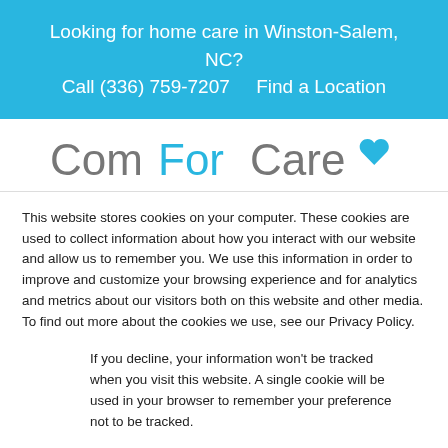Looking for home care in Winston-Salem, NC?
Call (336) 759-7207    Find a Location
[Figure (logo): ComForCare logo with blue heart icon]
This website stores cookies on your computer. These cookies are used to collect information about how you interact with our website and allow us to remember you. We use this information in order to improve and customize your browsing experience and for analytics and metrics about our visitors both on this website and other media. To find out more about the cookies we use, see our Privacy Policy.
If you decline, your information won't be tracked when you visit this website. A single cookie will be used in your browser to remember your preference not to be tracked.
Accept   Decline